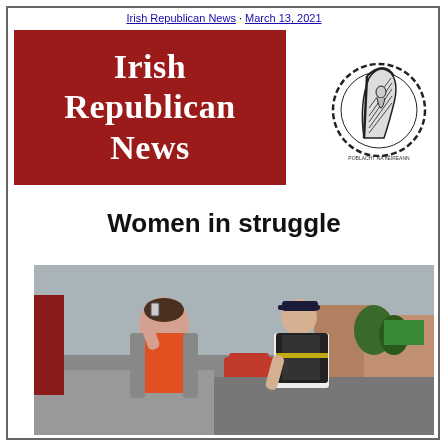Irish Republican News · March 13, 2021
[Figure (logo): Irish Republican News masthead logo — white text on dark red background reading 'Irish Republican News']
[Figure (illustration): Circular emblem/seal with harp and chain motif, Irish republican seal]
Women in struggle
[Figure (photo): A woman in an orange top and grey cardigan holds a phone near her face on a street while a police officer in uniform and hi-vis vest checks something on her arm. Urban street scene in background.]